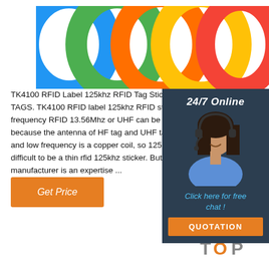[Figure (photo): Colorful silicone RFID wristbands in blue, green, orange, yellow, and red arranged in an arc on white background]
TK4100 RFID Label 125khz RFID Tag Sticker,RFID TAGS. TK4100 RFID label 125khz RFID sticker. No frequency RFID 13.56Mhz or UHF can be made to b because the antenna of HF tag and UHF tag are etc and low frequency is a copper coil, so 125khz low fr difficult to be a thin rfid 125khz sticker. But DO RFID manufacturer is an expertise ...
[Figure (photo): Customer service representative woman with headset smiling, with 24/7 Online label, Click here for free chat text, and QUOTATION button on dark background sidebar]
[Figure (other): Get Price orange button]
[Figure (logo): TOP logo with orange dot arc above the word TOP in orange and gray]